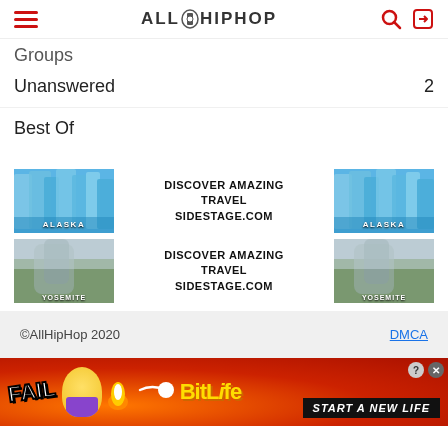AllHipHop
Groups
Unanswered  2
Best Of
[Figure (other): Advertisement: two travel ads side by side showing ALASKA glacier images with text DISCOVER AMAZING TRAVEL SIDESTAGE.COM]
[Figure (other): Advertisement: two travel ads side by side showing YOSEMITE mountain meadow images with text DISCOVER AMAZING TRAVEL SIDESTAGE.COM]
©AllHipHop 2020   DMCA
[Figure (other): BitLife mobile game advertisement banner - FAIL text, blonde emoji character, fire emoji, BitLife logo, START A NEW LIFE text on red/orange background]